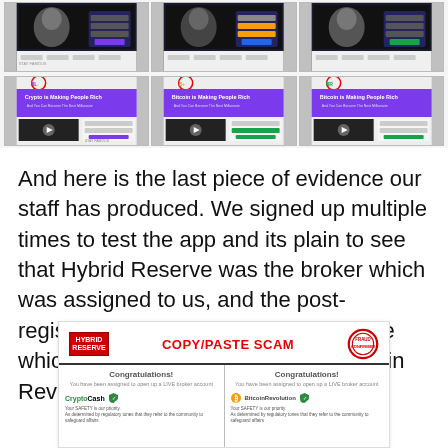[Figure (screenshot): Grid of 6 cryptocurrency scam website screenshots arranged in 2 rows of 3, showing 'Bitcoin is Making People Rich' and 'Crypto is Making People Rich' fake landing pages with circled logos.]
And here is the last piece of evidence our staff has produced. We signed up multiple times to test the app and its plain to see that Hybrid Reserve was the broker which was assigned to us, and the post-registration page is identical to the one which is currently being used for Bitcoin Revolution.
[Figure (screenshot): A composite image showing 'COPY/PASTE SCAM' label in red, with two side-by-side congratulations registration pages — one for CryptoCash and one for Bitcoin Revolution — demonstrating they are identical.]